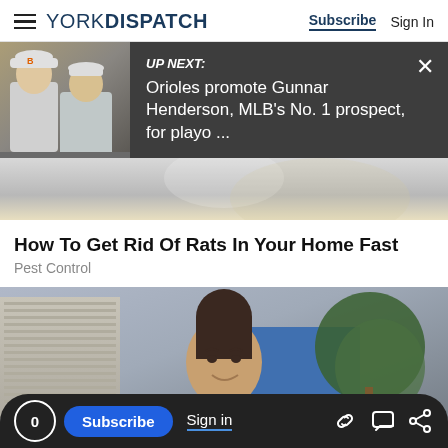YORK DISPATCH | Subscribe | Sign In
[Figure (screenshot): UP NEXT banner showing two baseball players (Orioles), dark gray background, with text: UP NEXT: Orioles promote Gunnar Henderson, MLB's No. 1 prospect, for playo ...]
[Figure (photo): Partial photo of a baseball or sports subject, blurred, beige/cream background]
How To Get Rid Of Rats In Your Home Fast
Pest Control
[Figure (photo): Photo of a young woman with dark hair in a bun, smiling, standing outdoors near a building with a blue wall and trees in the background]
0 | Subscribe | Sign in